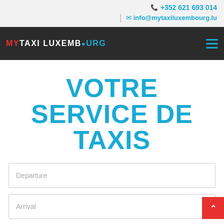📞 +352 621 693 014  ✉ info@mytaxiluxembourg.lu
[Figure (logo): MY TAXI LUXEMBOURG logo with map pin icon, white and red and cyan text on dark background, with hamburger menu icon]
VOTRE SERVICE DE TAXIS
Departure
Arrival